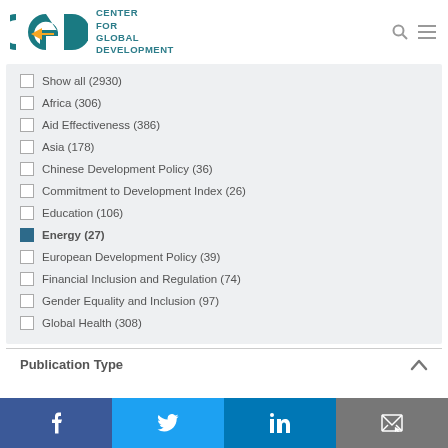[Figure (logo): CGD Center for Global Development logo with teal letters and gold arrow]
Show all (2930)
Africa (306)
Aid Effectiveness (386)
Asia (178)
Chinese Development Policy (36)
Commitment to Development Index (26)
Education (106)
Energy (27) [checked]
European Development Policy (39)
Financial Inclusion and Regulation (74)
Gender Equality and Inclusion (97)
Global Health (308)
Publication Type
[Figure (infographic): Social media footer bar with Facebook, Twitter, LinkedIn, and email icons]